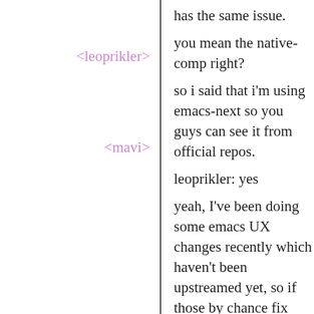has the same issue.
<leoprikler> you mean the native-comp right?
<mavi> so i said that i'm using emacs-next so you guys can see it from official repos.
<mavi> leoprikler: yes
<leoprikler> yeah, I've been doing some emacs UX changes recently which haven't been upstreamed yet, so if those by chance fix emacs-next, it's likely